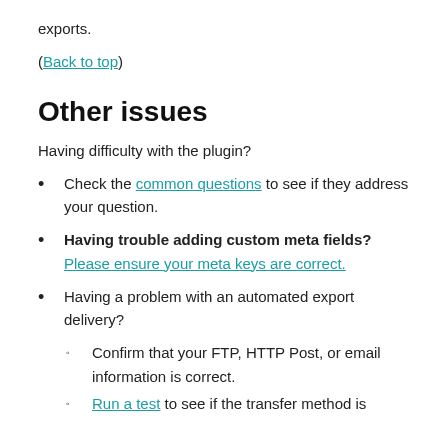exports.
(Back to top)
Other issues
Having difficulty with the plugin?
Check the common questions to see if they address your question.
Having trouble adding custom meta fields? Please ensure your meta keys are correct.
Having a problem with an automated export delivery?
Confirm that your FTP, HTTP Post, or email information is correct.
Run a test to see if the transfer method is